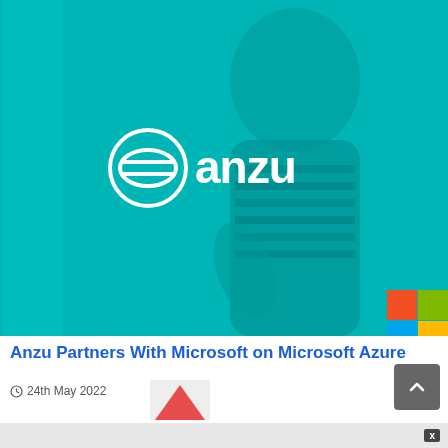[Figure (photo): Hero image with teal/cyan color overlay showing a person with afro hair smiling, holding a phone. White Anzu logo (stylized 'e anzu') on the left, partial Microsoft four-color squares logo on the right.]
Anzu Partners With Microsoft on Microsoft Azure
24th May 2022